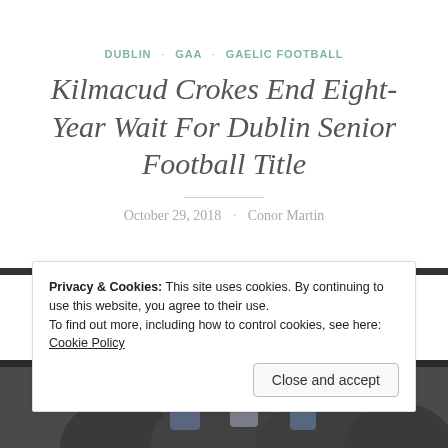DUBLIN · GAA · GAELIC FOOTBALL
Kilmacud Crokes End Eight-Year Wait For Dublin Senior Football Title
October 29, 2018 · Conor Martin
[Figure (photo): Photo of Gaelic football players, partially visible at the bottom of the page]
Privacy & Cookies: This site uses cookies. By continuing to use this website, you agree to their use.
To find out more, including how to control cookies, see here: Cookie Policy